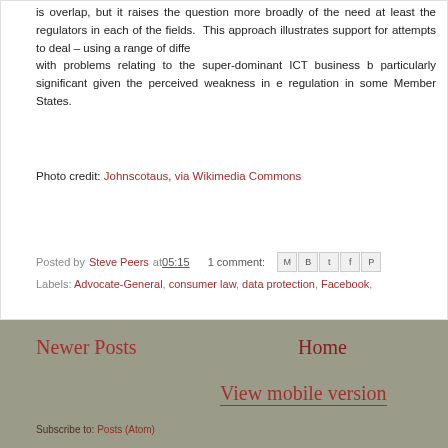is overlap, but it raises the question more broadly of the need at least the regulators in each of the fields. This approach illustrates support for attempts to deal – using a range of diffe with problems relating to the super-dominant ICT business b particularly significant given the perceived weakness in e regulation in some Member States.
Photo credit: Johnscotaus, via Wikimedia Commons
Posted by Steve Peers at 05:15  1 comment:
Labels: Advocate-General, consumer law, data protection, Facebook,
Newer Posts
Home
View mobile version